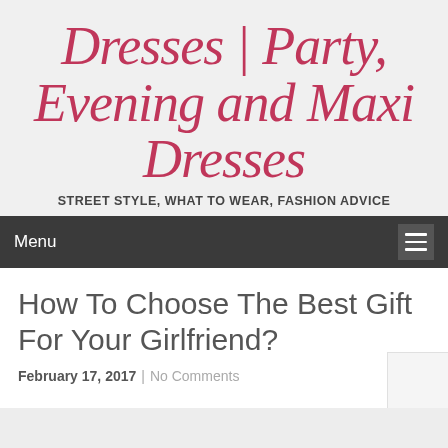Dresses | Party, Evening and Maxi Dresses
STREET STYLE, WHAT TO WEAR, FASHION ADVICE
Menu
How To Choose The Best Gift For Your Girlfriend?
February 17, 2017  |  No Comments